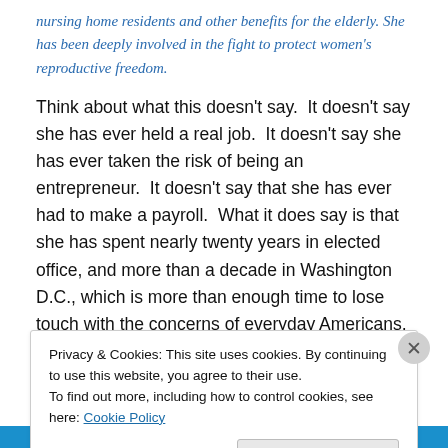nursing home residents and other benefits for the elderly. She has been deeply involved in the fight to protect women's reproductive freedom.
Think about what this doesn't say.  It doesn't say she has ever held a real job.  It doesn't say she has ever taken the risk of being an entrepreneur.  It doesn't say that she has ever had to make a payroll.  What it does say is that she has spent nearly twenty years in elected office, and more than a decade in Washington D.C., which is more than enough time to lose touch with the concerns of everyday Americans, assuming that she ever was in touch with
Privacy & Cookies: This site uses cookies. By continuing to use this website, you agree to their use.
To find out more, including how to control cookies, see here: Cookie Policy
Close and accept